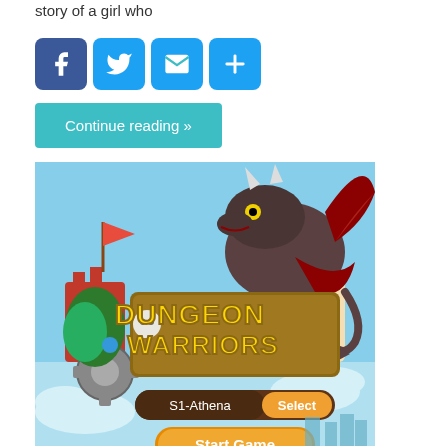story of a girl who
[Figure (illustration): Social media sharing icons: Facebook (blue), Twitter (blue), Email (blue), Share/Plus (blue)]
Continue reading »
[Figure (screenshot): Screenshot of Dungeon Warriors mobile game showing a dragon character, game logo, server selector 'S1-Athena' with 'Select' button, and 'Start Game' button on a light blue sky background.]